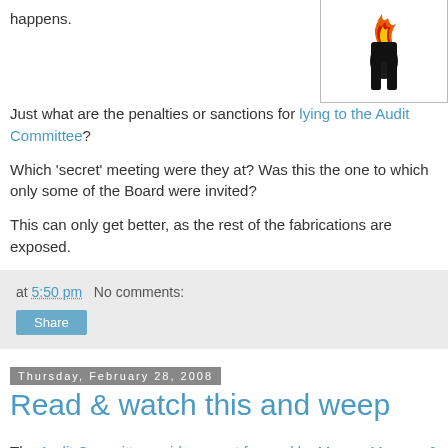happens.
Just what are the penalties or sanctions for lying to the Audit Committee?
[Figure (illustration): Cartoon illustration of a figure with flames/fire on top, wearing black pants, suggesting 'liar liar pants on fire']
Which 'secret' meeting were they at? Was this the one to which only some of the Board were invited?
This can only get better, as the rest of the fabrications are exposed.
at 5:50 pm   No comments:
Share
Thursday, February 28, 2008
Read & watch this and weep
The Audit Committee evidence put forward by Messrs Manson & Currie is now available on the web or for watching